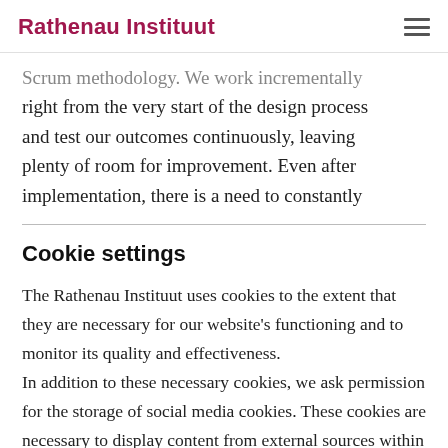Rathenau Instituut
Scrum methodology. We work incrementally right from the very start of the design process and test our outcomes continuously, leaving plenty of room for improvement. Even after implementation, there is a need to constantly
Cookie settings
The Rathenau Instituut uses cookies to the extent that they are necessary for our website's functioning and to monitor its quality and effectiveness.
In addition to these necessary cookies, we ask permission for the storage of social media cookies. These cookies are necessary to display content from external sources within our website. The preference for these cookies can be changed at any time via the cookie settings.